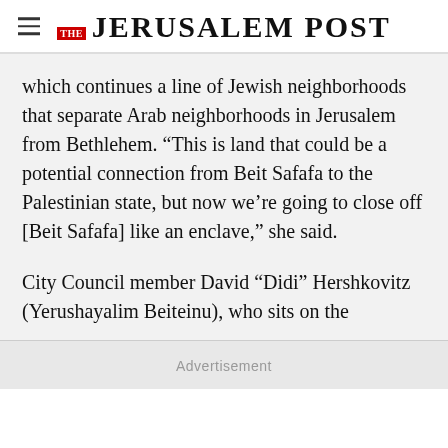THE JERUSALEM POST
which continues a line of Jewish neighborhoods that separate Arab neighborhoods in Jerusalem from Bethlehem. “This is land that could be a potential connection from Beit Safafa to the Palestinian state, but now we’re going to close off [Beit Safafa] like an enclave,” she said.
City Council member David “Didi” Hershkovitz (Yerushayalim Beiteinu), who sits on the
Advertisement